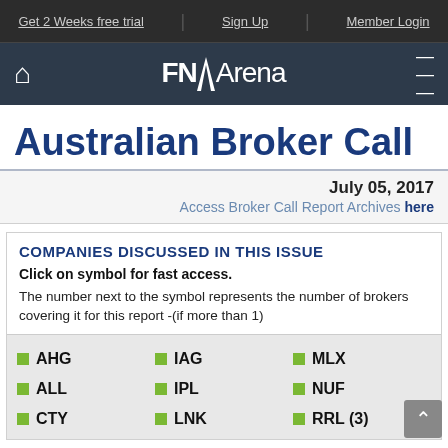Get 2 Weeks free trial | Sign Up | Member Login
[Figure (logo): FNArena logo with home icon and hamburger menu on dark navy background]
Australian Broker Call
July 05, 2017
Access Broker Call Report Archives here
COMPANIES DISCUSSED IN THIS ISSUE
Click on symbol for fast access.
The number next to the symbol represents the number of brokers covering it for this report -(if more than 1)
AHG
IAG
MLX
ALL
IPL
NUF
CTY
LNK
RRL (3)